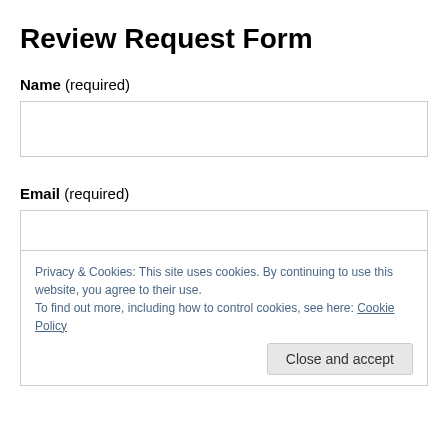Review Request Form
Name (required)
Email (required)
Privacy & Cookies: This site uses cookies. By continuing to use this website, you agree to their use.
To find out more, including how to control cookies, see here: Cookie Policy